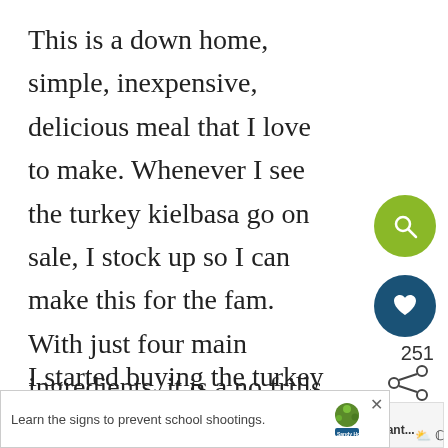This is a down home, simple, inexpensive, delicious meal that I love to make. Whenever I see the turkey kielbasa go on sale, I stock up so I can make this for the fam.  With just four main ingredients, it is a no frills kind of recipe that is perfect for busy weeknights or those nights when Momma just don't feel like cookin'.
I started buying the turkey kielbasa and smoked sausage (as opposed to pork or beef) a couple of years ago when I decided to try to star...
cooking a little healthier post baby